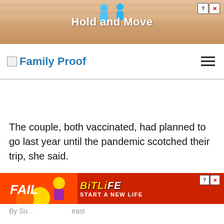[Figure (screenshot): Top advertisement banner for 'Hold and Move' mobile game with cartoon figures on steps background]
Family Proof
The couple, both vaccinated, had planned to go last year until the pandemic scotched their trip, she said.
“I am so excited,” said Doxsey, a reporter for the Daily Freeman in Kingston, New York. “It has been a long, long year, and we like to travel.”
[Figure (screenshot): Bottom advertisement banner for BitLife game with 'FAIL' text and 'START A NEW LIFE' call to action]
By Su… east … COVID-19…